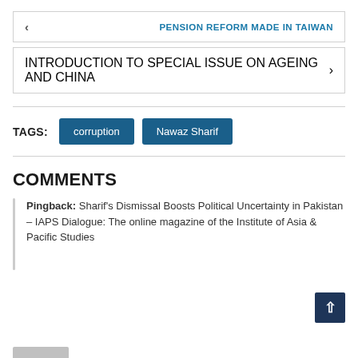< PENSION REFORM MADE IN TAIWAN
INTRODUCTION TO SPECIAL ISSUE ON AGEING AND CHINA >
TAGS: corruption  Nawaz Sharif
COMMENTS
Pingback: Sharif's Dismissal Boosts Political Uncertainty in Pakistan – IAPS Dialogue: The online magazine of the Institute of Asia & Pacific Studies